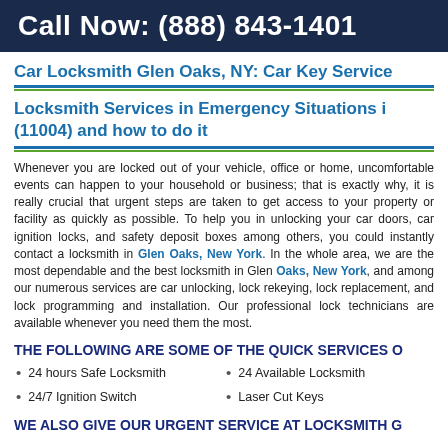Call Now: (888) 843-1401
Car Locksmith Glen Oaks, NY: Car Key Service
Locksmith Services in Emergency Situations in (11004) and how to do it
Whenever you are locked out of your vehicle, office or home, uncomfortable events can happen to your household or business; that is exactly why, it is really crucial that urgent steps are taken to get access to your property or facility as quickly as possible. To help you in unlocking your car doors, car ignition locks, and safety deposit boxes among others, you could instantly contact a locksmith in Glen Oaks, New York. In the whole area, we are the most dependable and the best locksmith in Glen Oaks, New York, and among our numerous services are car unlocking, lock rekeying, lock replacement, and lock programming and installation. Our professional lock technicians are available whenever you need them the most.
THE FOLLOWING ARE SOME OF THE QUICK SERVICES O
24 hours Safe Locksmith
24 Available Locksmith
24/7 Ignition Switch
Laser Cut Keys
WE ALSO GIVE OUR URGENT SERVICE AT LOCKSMITH O